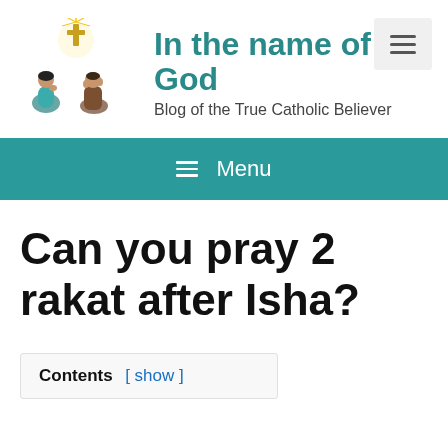[Figure (illustration): Two people kneeling in prayer with a glowing cross above them, illustration style logo]
In the name of God
Blog of the True Catholic Believer
≡ Menu
Can you pray 2 rakat after Isha?
Contents [ show ]